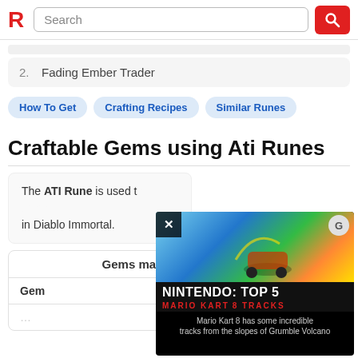R  Search
2.  Fading Ember Trader
How To Get  Crafting Recipes  Similar Runes
Craftable Gems using Ati Runes
The ATI Rune is used to craft gems in Diablo Immortal.
| Gem | Effect |
| --- | --- |
[Figure (screenshot): Video ad overlay showing NINTENDO: TOP 5 MARIO KART 8 TRACKS with text 'Mario Kart 8 has some incredible tracks from the slopes of Grumble Volcano']